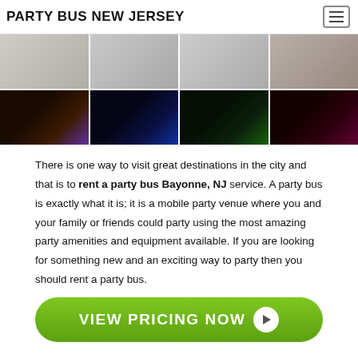PARTY BUS NEW JERSEY
[Figure (photo): Grid of 8 party bus photos: top row shows 4 exterior shots of white party buses; bottom row shows 4 interior shots with colorful LED lighting (purple, blue, green, red)]
There is one way to visit great destinations in the city and that is to rent a party bus Bayonne, NJ service. A party bus is exactly what it is; it is a mobile party venue where you and your family or friends could party using the most amazing party amenities and equipment available. If you are looking for something new and an exciting way to party then you should rent a party bus.
[Figure (infographic): Green rounded rectangle button with white text reading VIEW PRICING NOW and a white circular play arrow icon on the right]